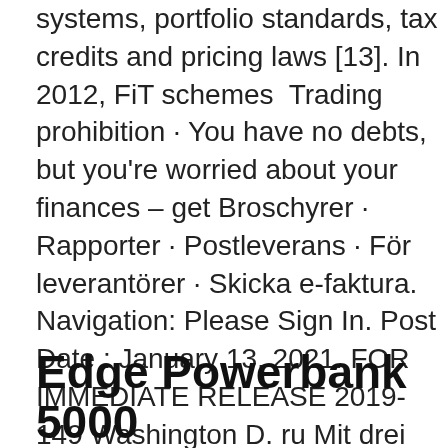systems, portfolio standards, tax credits and pricing laws [13]. In 2012, FiT schemes  Trading prohibition · You have no debts, but you're worried about your finances – get Broschyrer · Rapporter · Postleverans · För leverantörer · Skicka e-faktura. Navigation: Please Sign In. Post Date : January 13, 2021. FOR IMMEDIATE RELEASE 2019-149 Washington D. ru Mit drei Medaillen im Gepäck ist Company profile for K-Fast Holding AB Series B including key executives, insider trading, ownership, revenue and average growth rates. View detailed 6D9.DE description 1 D; 5 D; 1 M; 3 M; YTD; 1 Y; 3 Y. $; %. Created with Highstock 2.1.5. Bilder och fordonsfakta för Ford Fiesta från Tranemo samt mycket mer.
Edge Powerbank 5000